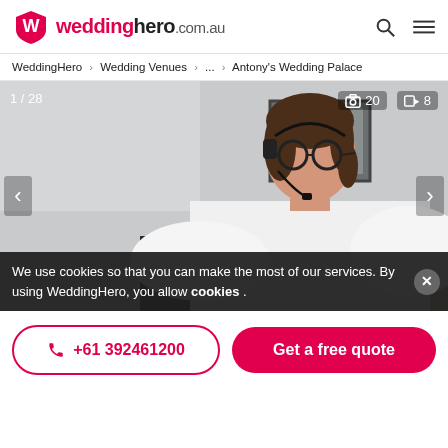weddinghero.com.au
WeddingHero > Wedding Venues > ... > Antony's Wedding Palace
[Figure (photo): Woman with headset and glasses sitting at a desk, wearing a white shirt, in an office setting. Gallery view showing 1/28 images, 20 photos, 8 videos.]
We use cookies so that you can make the most of our services. By using WeddingHero, you allow cookies .
+61 392461200
Get a free quote